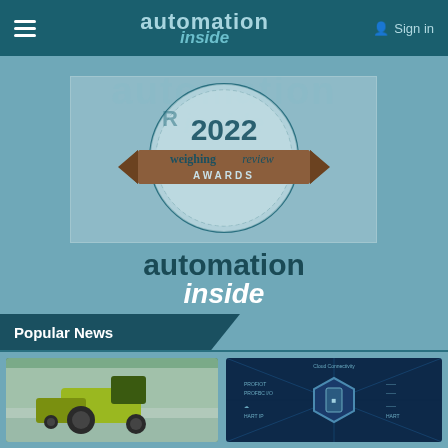automation inside | Sign in
[Figure (logo): Automation inside website screenshot showing weighing review awards 2022 logo badge with 'automation inside' branding, Popular News section header, and two thumbnail images (tractor and industrial device diagram)]
Popular News